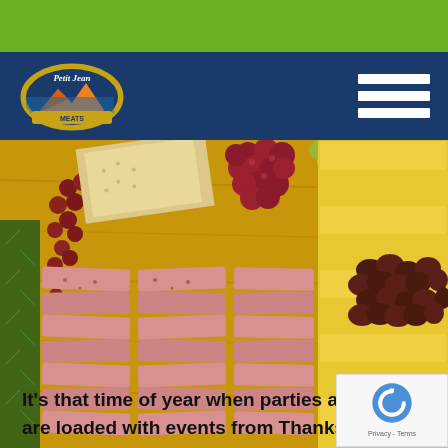[Figure (logo): Petit Jean Meats logo on dark blue navigation bar with hamburger menu icon]
[Figure (photo): Charcuterie board with sliced deli meats, red grapes, cheese slices, olives, crackers, and rosemary garnish on a wooden board]
It's that time of year when parties are aplenty. Our ca are loaded with events from Thanksgiving to New Years as